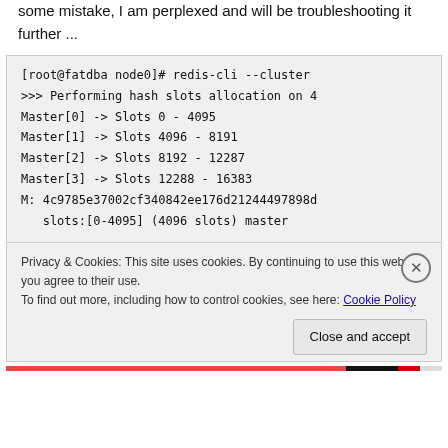some mistake, I am perplexed and will be troubleshooting it further ...
[root@fatdba node0]# redis-cli --cluster
>>> Performing hash slots allocation on 4
Master[0] -> Slots 0 - 4095
Master[1] -> Slots 4096 - 8191
Master[2] -> Slots 8192 - 12287
Master[3] -> Slots 12288 - 16383
M: 4c9785e37002cf340842ee176d21244497898d
   slots:[0-4095] (4096 slots) master
Privacy & Cookies: This site uses cookies. By continuing to use this website, you agree to their use.
To find out more, including how to control cookies, see here: Cookie Policy
Close and accept